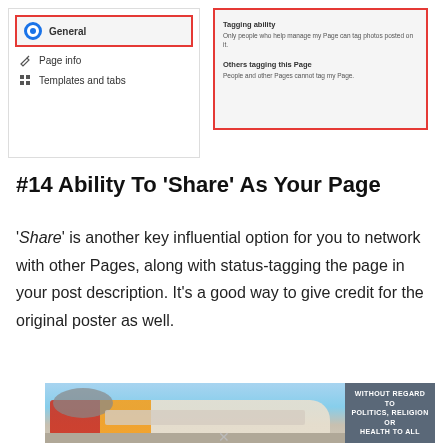[Figure (screenshot): Facebook Page settings screenshot showing left navigation menu with General (selected, highlighted in red border), Page info, and Templates and tabs options. Right panel shows tagging settings highlighted in red border: 'Tagging ability' and 'Others tagging this Page' rows.]
#14 Ability To 'Share' As Your Page
'Share' is another key influential option for you to network with other Pages, along with status-tagging the page in your post description. It's a good way to give credit for the original poster as well.
[Figure (photo): Advertisement banner showing an airplane being loaded with cargo, with text overlay 'WITHOUT REGARD TO POLITICS, RELIGION OR HEALTH TO ALL' on a dark background on the right side.]